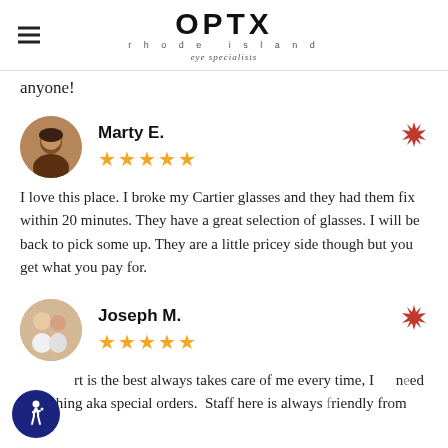[Figure (logo): OPTX Rhode Island eye specialists logo with hamburger menu icon on left]
anyone!
Marty E. — 5 stars
I love this place. I broke my Cartier glasses and they had them fix within 20 minutes. They have a great selection of glasses. I will be back to pick some up. They are a little pricey side though but you get what you pay for.
Joseph M. — 5 stars
rt is the best always takes care of me every time, I need something aka special orders. Staff here is always friendly from the ...